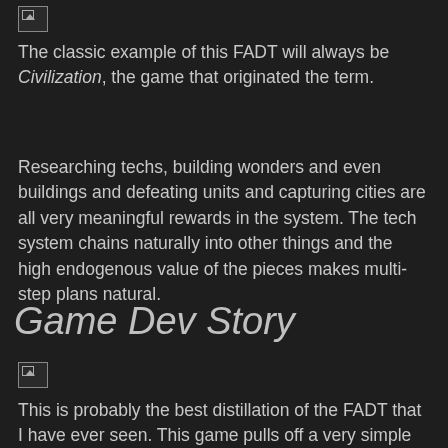[Figure (other): Broken image placeholder at top]
The classic example of this FADT will always be Civilization, the game that originated the term.
Researching techs, building wonders and even buildings and defeating units and capturing cities are all very meaningful rewards in the system. The tech system chains naturally into other things and the high endogenous value of the pieces makes multi-step plans natural.
Game Dev Story
[Figure (other): Broken image placeholder below section header]
This is probably the best distillation of the FADT that I have ever seen. This game pulls off a very simple trick to generate the dynamic, it simply